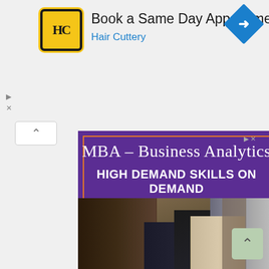[Figure (logo): Hair Cuttery logo - yellow rounded rectangle with HC letters in black]
Book a Same Day Appointment
Hair Cuttery
[Figure (logo): Blue diamond navigation/directions icon]
[Figure (infographic): MBA – Business Analytics advertisement for High Point University. Purple background with orange border frame and orange APPLY NOW button. Photo of business professionals networking at an event. Text: MBA – Business Analytics, HIGH DEMAND SKILLS ON DEMAND, APPLY NOW, HIGH POINT UNIVERSITY]
MBA – Business Analytics
HIGH DEMAND SKILLS ON DEMAND
APPLY NOW
HIGH POINT UNIVERSITY